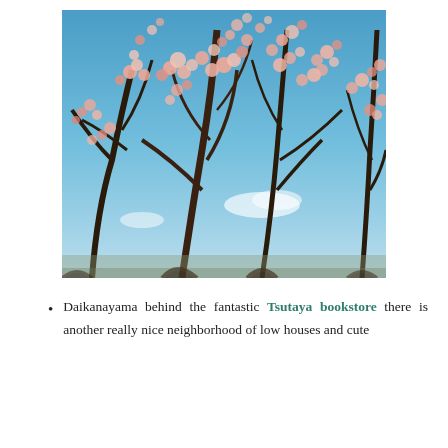[Figure (photo): Photograph taken looking up at blossoming plum or cherry trees with pink and white flowers on dark bare branches against a blue sky with light clouds]
Daikanayama behind the fantastic Tsutaya bookstore there is another really nice neighborhood of low houses and cute